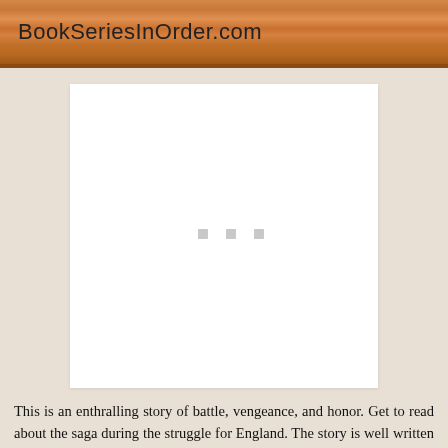BookSeriesInOrder.com
[Figure (other): White rectangle placeholder with three small gray loading dots in the center, on a beige background]
This is an enthralling story of battle, vengeance, and honor. Get to read about the saga during the struggle for England. The story is well written in the first person